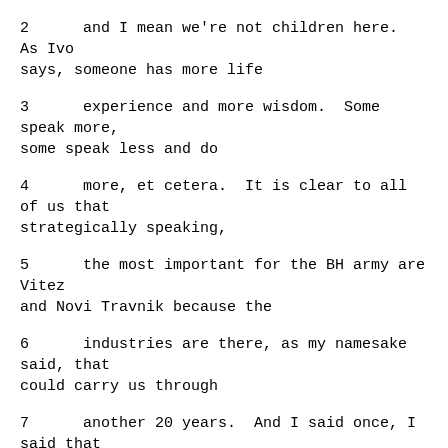2      and I mean we're not children here.  As Ivo says, someone has more life
3      experience and more wisdom.  Some speak more, some speak less and do
4      more, et cetera.  It is clear to all of us that strategically speaking,
5      the most important for the BH army are Vitez and Novi Travnik because the
6      industries are there, as my namesake said, that could carry us through
7      another 20 years.  And I said once, I said that to the president, for the
8      sake of the international community you should